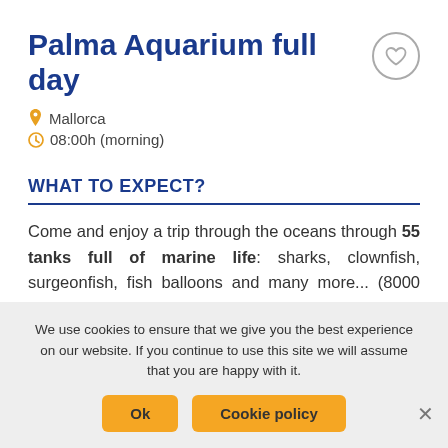Palma Aquarium full day
📍 Mallorca
🕐 08:00h (morning)
WHAT TO EXPECT?
Come and enjoy a trip through the oceans through 55 tanks full of marine life: sharks, clownfish, surgeonfish, fish balloons and many more... (8000 specimens of 700 species). Explore the different areas of indoor and outdoor where you can enjoy the Mediterranean climate and do not miss the different activities that the
We use cookies to ensure that we give you the best experience on our website. If you continue to use this site we will assume that you are happy with it.